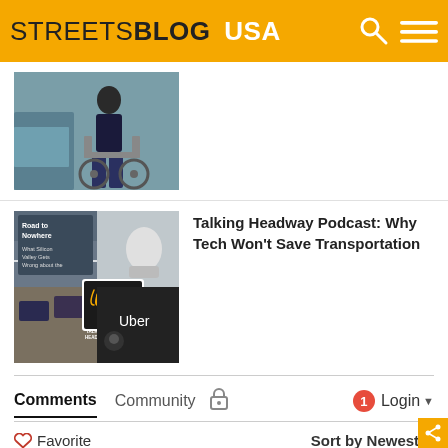STREETSBLOG USA
[Figure (photo): Person transferring to or from a wheelchair next to a blue car]
[Figure (photo): Composite podcast cover image for Talking Headway showing traffic, Uber driver, and podcast logo with text 'Road to Nowhere - What Silicon Valley Gets Wrong about the Future of Transportation']
Talking Headway Podcast: Why Tech Won't Save Transportation
Comments
Community
Login
Favorite
Sort by Newest